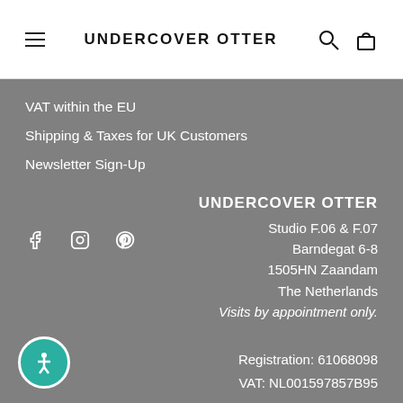UNDERCOVER OTTER
VAT within the EU
Shipping & Taxes for UK Customers
Newsletter Sign-Up
UNDERCOVER OTTER
Studio F.06 & F.07
Barndegat 6-8
1505HN Zaandam
The Netherlands
Visits by appointment only.
Registration: 61068098
VAT: NL001597857B95